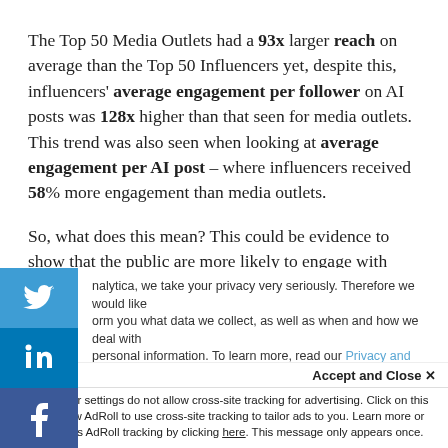The Top 50 Media Outlets had a 93x larger reach on average than the Top 50 Influencers yet, despite this, influencers' average engagement per follower on AI posts was 128x higher than that seen for media outlets. This trend was also seen when looking at average engagement per AI post – where influencers received 58% more engagement than media outlets.
So, what does this mean? This could be evidence to show that the public are more likely to engage with news & debate around AI when this comes from an influencer rather than
nalytica, we take your privacy very seriously. Therefore we would like orm you what data we collect, as well as when and how we deal with personal information. To learn more, read our Privacy and Cookie Policy. If you have any questions, don't hesitate to contact us
Accept and Close ✕
Your browser settings do not allow cross-site tracking for advertising. Click on this page to allow AdRoll to use cross-site tracking to tailor ads to you. Learn more or opt out of this AdRoll tracking by clicking here. This message only appears once.